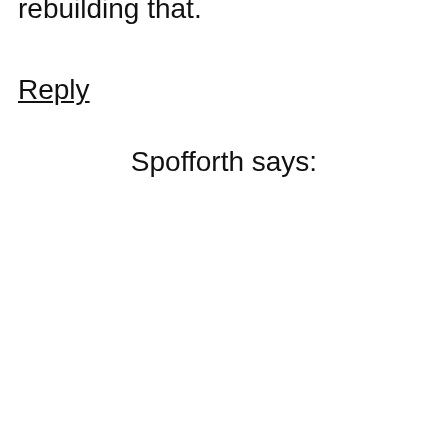Another Fine Mess, and every other page up at Substack, you can also subscribe for free, and either not get the full content of a post, or (as at mine) not have comment access. If after you read it for awhile, you like it, you can choose to support it, for – as I say – “the price of two Vente’s at Starbucks.”
The internet has destroyed many writers’ financial support systems. Substack is a way of rebuilding that.
Reply
Spofforth says: